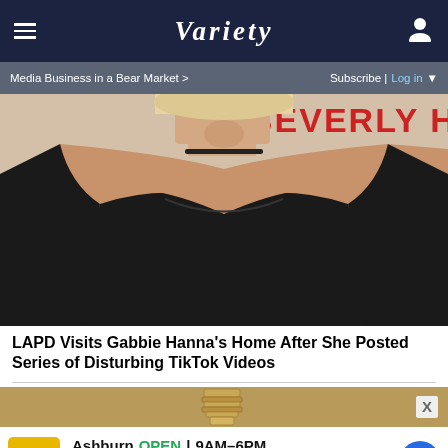≡   VARIETY   👤
Media Business in a Bear Market >   Subscribe | Log in ▼
[Figure (photo): Woman with blonde hair in black off-shoulder dress photographed at Beverly Hills event. Only the torso and lower face visible. Red 'BEVERLY HIL' text visible in background.]
LAPD Visits Gabbie Hanna's Home After She Posted Series of Disturbing TikTok Videos
[Figure (photo): Advertisement strip showing a lightbulb screw base on a tan/gold background with an X close button]
Ashburn OPEN 9AM–6PM 44110 Ashburn Shopping P...